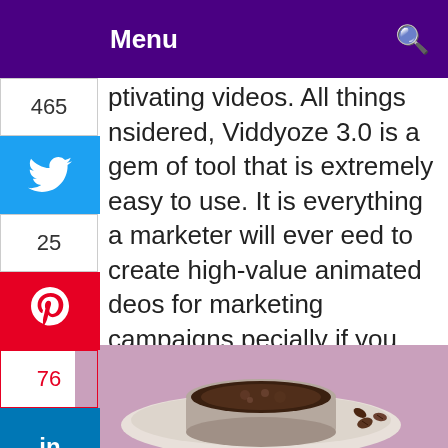Menu
ptivating videos. All things nsidered, Viddyoze 3.0 is a gem of tool that is extremely easy to use. It is everything a marketer will ever eed to create high-value animated deos for marketing campaigns pecially if you are on a budget and can't afford to commission the work!
[Figure (photo): A cup of coffee on a plate with coffee beans, on a pink/purple background. The image is partially visible, showing the top portion of the plate and cup.]